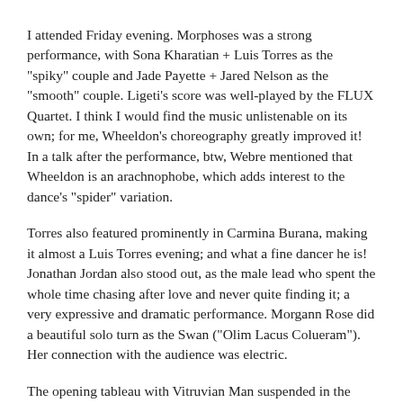I attended Friday evening. Morphoses was a strong performance, with Sona Kharatian + Luis Torres as the "spiky" couple and Jade Payette + Jared Nelson as the "smooth" couple. Ligeti's score was well-played by the FLUX Quartet. I think I would find the music unlistenable on its own; for me, Wheeldon's choreography greatly improved it! In a talk after the performance, btw, Webre mentioned that Wheeldon is an arachnophobe, which adds interest to the dance's "spider" variation.
Torres also featured prominently in Carmina Burana, making it almost a Luis Torres evening; and what a fine dancer he is! Jonathan Jordan also stood out, as the male lead who spent the whole time chasing after love and never quite finding it; a very expressive and dramatic performance. Morgann Rose did a beautiful solo turn as the Swan ("Olim Lacus Colueram"). Her connection with the audience was electric.
The opening tableau with Vitruvian Man suspended in the Wheel of Fortune (sounds like a game show, doesn't it?), surrounded by 100 choristers on industrial scaffolding, brought *gasps* and *applause* from the audience, which remained very enthusiastic throughout the performance and surged to its feet at the end. I only